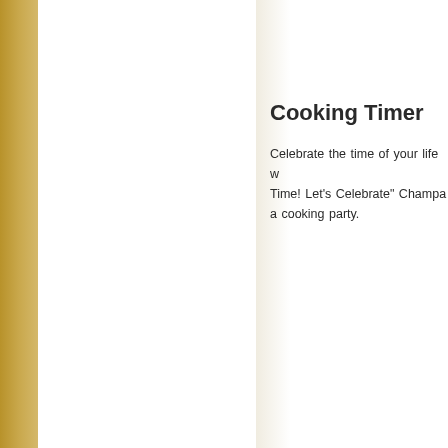Cooking Timer
Celebrate the time of your life with "It's Time! Let's Celebrate" Champagne, whilst hosting a cooking party.